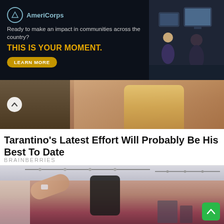[Figure (screenshot): AmeriCorps advertisement banner with dark background. Logo with circle A on left, text 'AmeriCorps', tagline 'Ready to make an impact in communities across the country?', bold orange headline 'THIS IS YOUR MOMENT.' with a yellow 'LEARN MORE' button. Right side shows people working at computers.]
[Figure (photo): Partial photo of a person with blonde hair, carousel navigation with up arrow chevron visible on left side.]
Tarantino’s Latest Effort Will Probably Be His Best To Date
BRAINBERRIES
[Figure (photo): A fit woman in a red sports bra taking a mirror selfie at a gym, flexing her bicep. She is smiling and holding a black smartphone. The gym background shows white brick walls and equipment.]